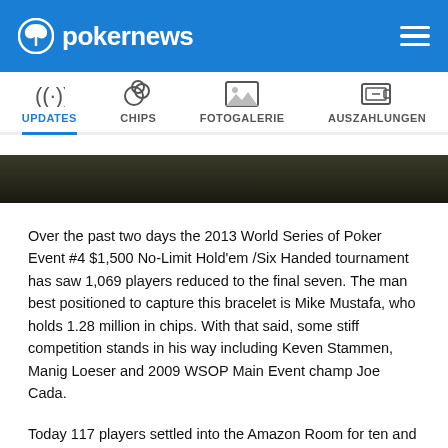pokernews
[Figure (screenshot): Navigation bar with icons for UPDATES, CHIPS, FOTOGALERIE, AUSZAHLUNGEN]
[Figure (photo): Cropped photo strip showing poker table scene]
Over the past two days the 2013 World Series of Poker Event #4 $1,500 No-Limit Hold'em /Six Handed tournament has saw 1,069 players reduced to the final seven. The man best positioned to capture this bracelet is Mike Mustafa, who holds 1.28 million in chips. With that said, some stiff competition stands in his way including Keven Stammen, Manig Loeser and 2009 WSOP Main Event champ Joe Cada.
Today 117 players settled into the Amazon Room for ten and a half levels of play. Nine of those players would leave empty handed as only 108 were slated to get paid. Among those who failed to secure a payday were John Nidhiry, Nasir Veerani,